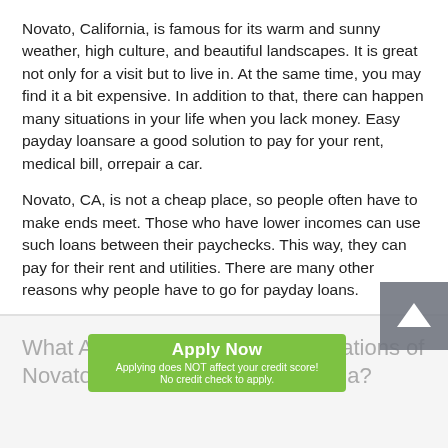Novato, California, is famous for its warm and sunny weather, high culture, and beautiful landscapes. It is great not only for a visit but to live in. At the same time, you may find it a bit expensive. In addition to that, there can happen many situations in your life when you lack money. Easy payday loansare a good solution to pay for your rent, medical bill, orrepair a car.
Novato, CA, is not a cheap place, so people often have to make ends meet. Those who have lower incomes can use such loans between their paychecks. This way, they can pay for their rent and utilities. There are many other reasons why people have to go for payday loans.
What Are the Benefits and Regulations of Novato Payday Loans in California?
Fast payday loans are separated from many other lenders because of the following benefits of this service: